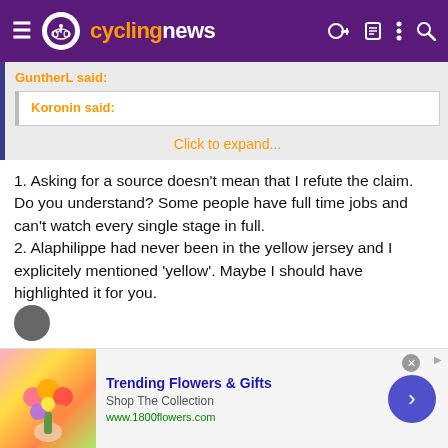[Figure (screenshot): Cyclingnews website header with purple background, hamburger menu, cycling logo, and navigation icons]
GuntherL said:
Koronin said:
Click to expand...
1. Asking for a source doesn't mean that I refute the claim. Do you understand? Some people have full time jobs and can't watch every single stage in full.
2. Alaphilippe had never been in the yellow jersey and I explicitely mentioned 'yellow'. Maybe I should have highlighted it for you.
[Figure (screenshot): Advertisement banner for 1800flowers.com - Trending Flowers & Gifts, Shop The Collection]